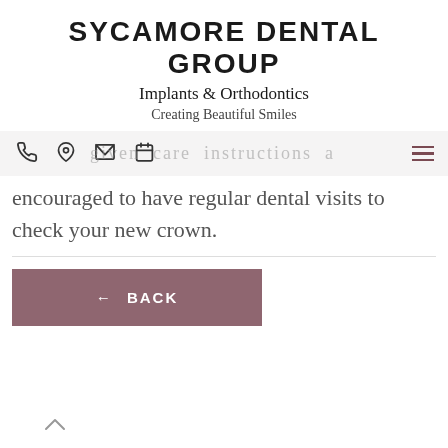SYCAMORE DENTAL GROUP
Implants & Orthodontics
Creating Beautiful Smiles
[nav icons: phone, location, email, calendar] [hamburger menu]
You will be given care instructions and encouraged to have regular dental visits to check your new crown.
← BACK